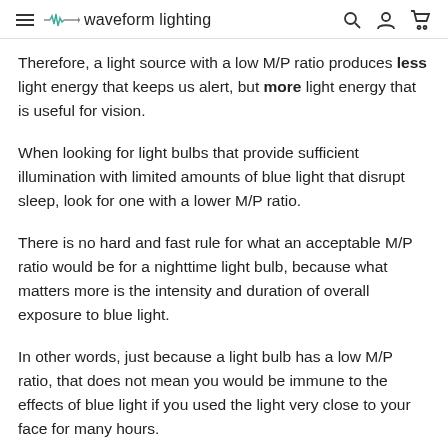waveform lighting
Therefore, a light source with a low M/P ratio produces less light energy that keeps us alert, but more light energy that is useful for vision.
When looking for light bulbs that provide sufficient illumination with limited amounts of blue light that disrupt sleep, look for one with a lower M/P ratio.
There is no hard and fast rule for what an acceptable M/P ratio would be for a nighttime light bulb, because what matters more is the intensity and duration of overall exposure to blue light.
In other words, just because a light bulb has a low M/P ratio, that does not mean you would be immune to the effects of blue light if you used the light very close to your face for many hours.